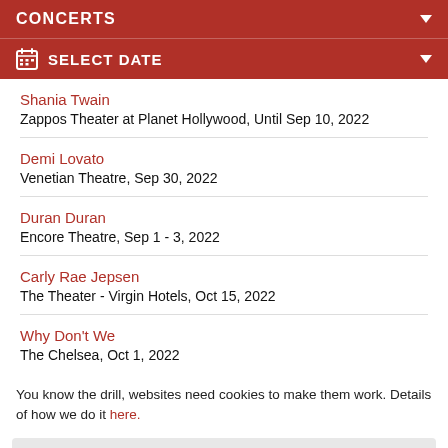CONCERTS
SELECT DATE
Shania Twain
Zappos Theater at Planet Hollywood, Until Sep 10, 2022
Demi Lovato
Venetian Theatre, Sep 30, 2022
Duran Duran
Encore Theatre, Sep 1 - 3, 2022
Carly Rae Jepsen
The Theater - Virgin Hotels, Oct 15, 2022
Why Don't We
The Chelsea, Oct 1, 2022
You know the drill, websites need cookies to make them work. Details of how we do it here.
Got it!